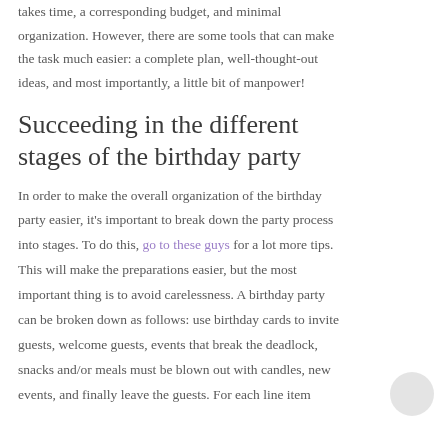takes time, a corresponding budget, and minimal organization. However, there are some tools that can make the task much easier: a complete plan, well-thought-out ideas, and most importantly, a little bit of manpower!
Succeeding in the different stages of the birthday party
In order to make the overall organization of the birthday party easier, it's important to break down the party process into stages. To do this, go to these guys for a lot more tips. This will make the preparations easier, but the most important thing is to avoid carelessness. A birthday party can be broken down as follows: use birthday cards to invite guests, welcome guests, events that break the deadlock, snacks and/or meals must be blown out with candles, new events, and finally leave the guests. For each line item